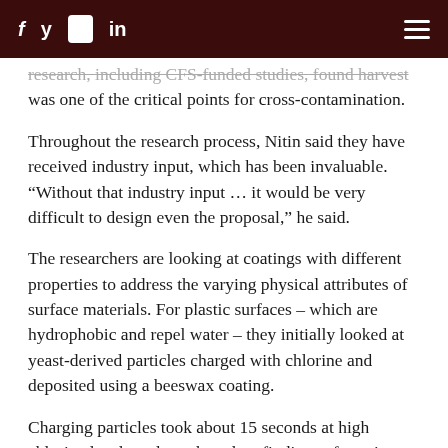f  y  ▶  in  ≡
research, including CFS-funded studies, found harvest was one of the critical points for cross-contamination.
Throughout the research process, Nitin said they have received industry input, which has been invaluable. "Without that industry input … it would be very difficult to design even the proposal," he said.
The researchers are looking at coatings with different properties to address the varying physical attributes of surface materials. For plastic surfaces – which are hydrophobic and repel water – they initially looked at yeast-derived particles charged with chlorine and deposited using a beeswax coating.
Charging particles took about 15 seconds at high chlorine levels and was based on findings of previous work Nitin conducted.